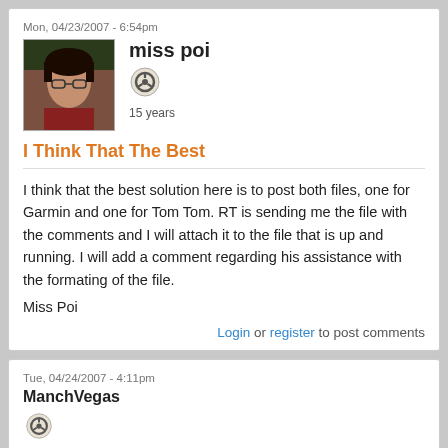Mon, 04/23/2007 - 6:54pm
miss poi
15 years
I Think That The Best
I think that the best solution here is to post both files, one for Garmin and one for Tom Tom. RT is sending me the file with the comments and I will attach it to the file that is up and running. I will add a comment regarding his assistance with the formating of the file.

Miss Poi
Login or register to post comments
Tue, 04/24/2007 - 4:11pm
ManchVegas